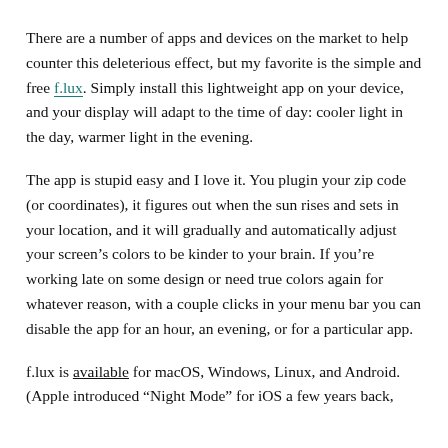There are a number of apps and devices on the market to help counter this deleterious effect, but my favorite is the simple and free f.lux. Simply install this lightweight app on your device, and your display will adapt to the time of day: cooler light in the day, warmer light in the evening.
The app is stupid easy and I love it. You plugin your zip code (or coordinates), it figures out when the sun rises and sets in your location, and it will gradually and automatically adjust your screen's colors to be kinder to your brain. If you’re working late on some design or need true colors again for whatever reason, with a couple clicks in your menu bar you can disable the app for an hour, an evening, or for a particular app.
f.lux is available for macOS, Windows, Linux, and Android. (Apple introduced “Night Mode” for iOS a few years back, which replacement on the newer iPhones and iPads.)